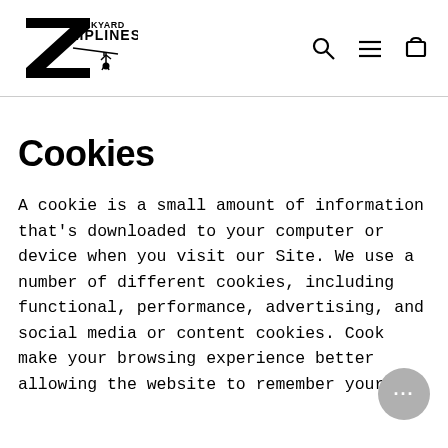[Figure (logo): Backyard Ziplines logo with stylized Z and hanging figure silhouette]
[Figure (infographic): Navigation icons: search (magnifying glass), hamburger menu, and shopping cart]
Cookies
A cookie is a small amount of information that's downloaded to your computer or device when you visit our Site. We use a number of different cookies, including functional, performance, advertising, and social media or content cookies. Cookies make your browsing experience better by, allowing the website to remember your